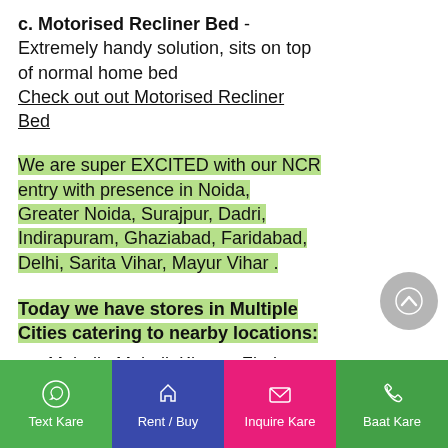c. Motorised Recliner Bed - Extremely handy solution, sits on top of normal home bed
Check out out Motorised Recliner Bed
We are super EXCITED with our NCR entry with presence in Noida, Greater Noida, Surajpur, Dadri, Indirapuram, Ghaziabad, Faridabad, Delhi, Sarita Vihar, Mayur Vihar .
Today we have stores in Multiple Cities catering to nearby locations:
Mohali : Mohali, Kharar, Zirakpur, New Chandigarh, Dera Bassi
Panchkula : Panchkula, Dhakoli,
Text Kare | Rent / Buy | Inquire Kare | Baat Kare